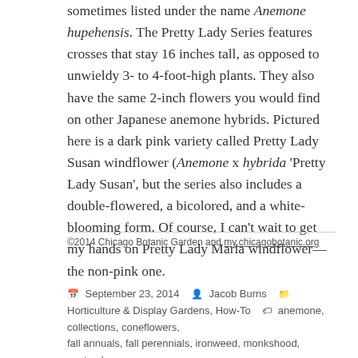sometimes listed under the name Anemone hupehensis. The Pretty Lady Series features crosses that stay 16 inches tall, as opposed to unwieldy 3- to 4-foot-high plants. They also have the same 2-inch flowers you would find on other Japanese anemone hybrids. Pictured here is a dark pink variety called Pretty Lady Susan windflower (Anemone x hybrida 'Pretty Lady Susan', but the series also includes a double-flowered, a bicolored, and a white-blooming form. Of course, I can't wait to get my hands on Pretty Lady Maria windflower—the non-pink one.
©2014 Chicago Botanic Garden and my.chicagobotanic.org
September 23, 2014   Jacob Burns   Horticulture & Display Gardens, How-To   anemone, collections, coneflowers, fall annuals, fall perennials, ironweed, monkshood, september gardening, sneezeweed